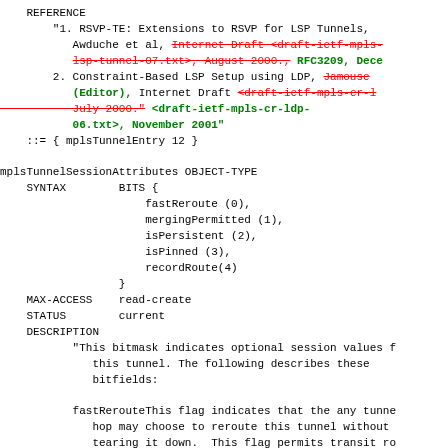REFERENCE
    "1. RSVP-TE: Extensions to RSVP for LSP Tunnels,
       Awduche et al, [strikethrough: Internet Draft <draft-ietf-mpls-lsp-tunnel-07.txt>, August 2000.,] [inserted: RFC3209, Dece...]
    2. Constraint-Based LSP Setup using LDP, [strikethrough: Jamouse...] [inserted: (Editor),] Internet Draft [strikethrough: <draft-ietf-mpls-cr-l... July 2000."] [inserted: <draft-ietf-mpls-cr-ldp-06.txt>, November 2001"]
::= { mplsTunnelEntry 12 }

mplsTunnelSessionAttributes OBJECT-TYPE
    SYNTAX        BITS {
                      fastReroute (0),
                      mergingPermitted (1),
                      isPersistent (2),
                      isPinned (3),
                      recordRoute(4)
                  }
    MAX-ACCESS    read-create
    STATUS        current
    DESCRIPTION
       "This bitmask indicates optional session values f...
          this tunnel. The following describes these
          bitfields:

       fastRerouteThis flag indicates that the any tunne...
          hop may choose to reroute this tunnel without
          tearing it down.  This flag permits transit rou...
          to use a local repair mechanism which may resul...
          violation of the explicit routing of this tunne...